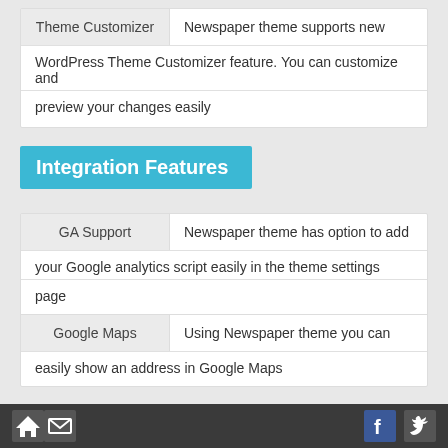| Theme Customizer | Description |
| --- | --- |
| Theme Customizer | Newspaper theme supports new WordPress Theme Customizer feature. You can customize and preview your changes easily |
Integration Features
| Feature | Description |
| --- | --- |
| GA Support | Newspaper theme has option to add your Google analytics script easily in the theme settings page |
| Google Maps | Using Newspaper theme you can easily show an address in Google Maps |
Home | Mail | Facebook | Twitter